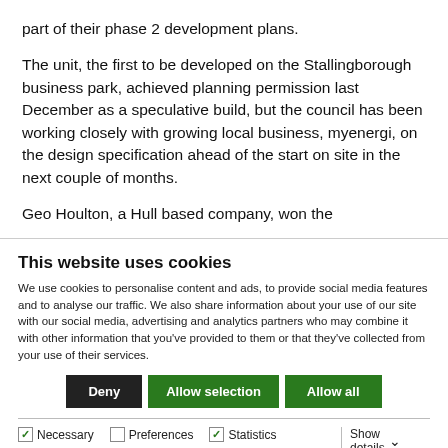part of their phase 2 development plans.
The unit, the first to be developed on the Stallingborough business park, achieved planning permission last December as a speculative build, but the council has been working closely with growing local business, myenergi, on the design specification ahead of the start on site in the next couple of months.
Geo Houlton, a Hull based company, won the
This website uses cookies
We use cookies to personalise content and ads, to provide social media features and to analyse our traffic. We also share information about your use of our site with our social media, advertising and analytics partners who may combine it with other information that you've provided to them or that they've collected from your use of their services.
Deny | Allow selection | Allow all
Necessary (checked) | Preferences (unchecked) | Statistics (checked) | Marketing (checked) | Show details